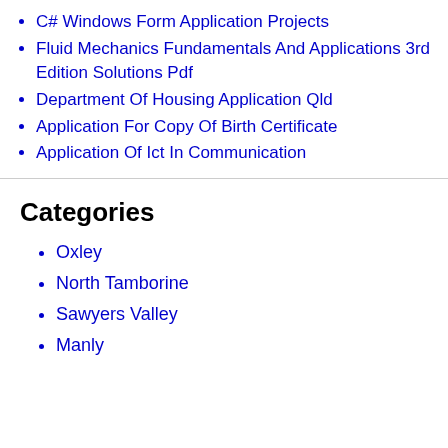C# Windows Form Application Projects
Fluid Mechanics Fundamentals And Applications 3rd Edition Solutions Pdf
Department Of Housing Application Qld
Application For Copy Of Birth Certificate
Application Of Ict In Communication
Categories
Oxley
North Tamborine
Sawyers Valley
Manly